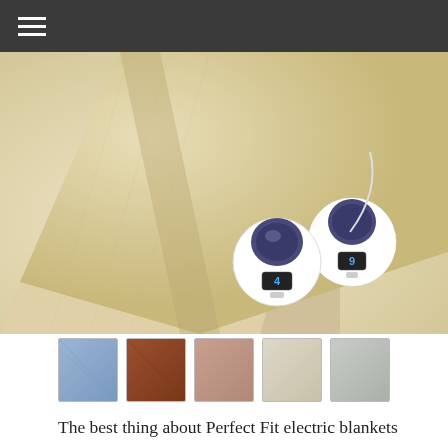[Figure (photo): A beige/cream electric blanket folded, with two white dual-dial controllers showing settings of 4 and 9 placed on top of the blanket]
[Figure (photo): Five color swatches of the electric blanket: blue, brown/rust, mauve/pink, cream/natural, and light gray]
The best thing about Perfect Fit electric blankets is the use of thin wires, and the